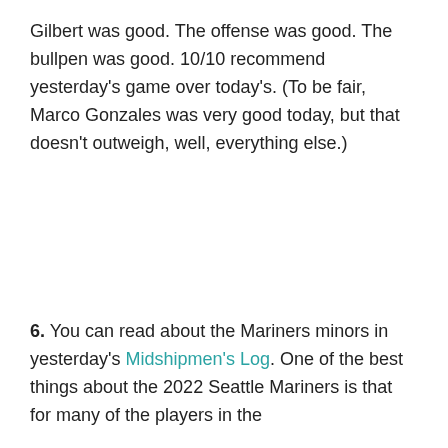Gilbert was good. The offense was good. The bullpen was good. 10/10 recommend yesterday's game over today's. (To be fair, Marco Gonzales was very good today, but that doesn't outweigh, well, everything else.)
6. You can read about the Mariners minors in yesterday's Midshipmen's Log. One of the best things about the 2022 Seattle Mariners is that for many of the players in the